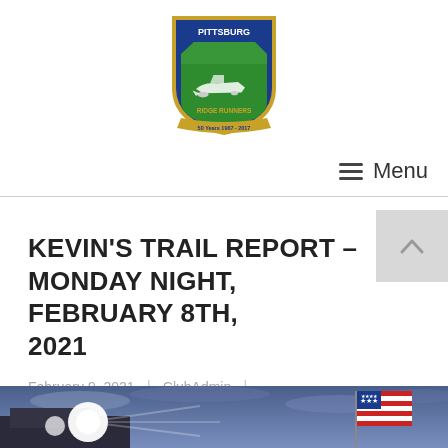[Figure (logo): Pittsburg Ridge Runners snowmobile club shield logo with green and blue colors, snowmobile graphic, and '50 Years 1967-2017' banner]
≡ Menu
KEVIN'S TRAIL REPORT – MONDAY NIGHT, FEBRUARY 8TH, 2021
February 9, 2021  |  ClubAdmin  |
[Figure (photo): Nighttime or dusk outdoor scene with bright vehicle headlights on the left and an American flag on the right, blue-purple sky with clouds]